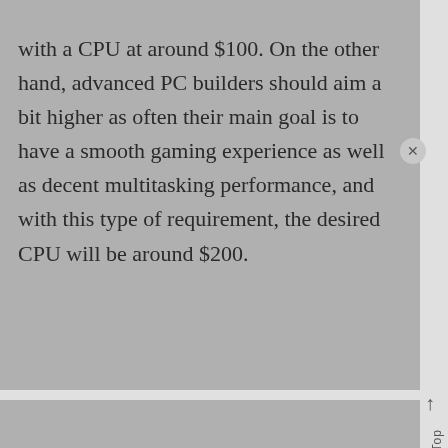with a CPU at around $100. On the other hand, advanced PC builders should aim a bit higher as often their main goal is to have a smooth gaming experience as well as decent multitasking performance, and with this type of requirement, the desired CPU will be around $200.
Does it mean that expensive CPUs don't worth it? Definitely not. Usually,